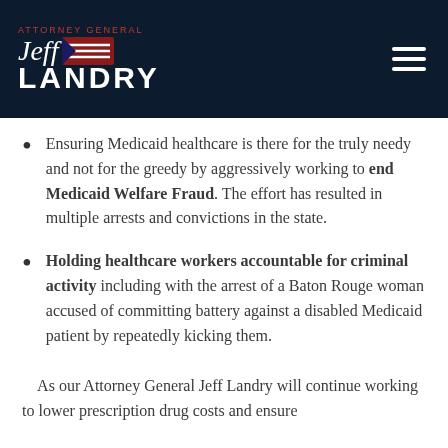ATTORNEY GENERAL Jeff LANDRY
Ensuring Medicaid healthcare is there for the truly needy and not for the greedy by aggressively working to end Medicaid Welfare Fraud. The effort has resulted in multiple arrests and convictions in the state.
Holding healthcare workers accountable for criminal activity including with the arrest of a Baton Rouge woman accused of committing battery against a disabled Medicaid patient by repeatedly kicking them.
As our Attorney General Jeff Landry will continue working to lower prescription drug costs and ensure